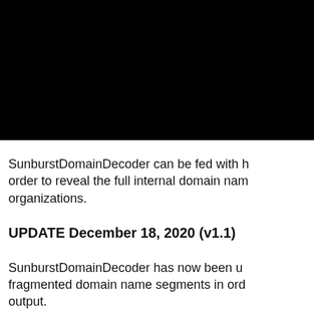[Figure (screenshot): Terminal/console screenshot on black background showing two columns: hex hashes and domain names. Rows include: 5E435E3ED0639974 / cisco.com, 6349BC98A9A3EE87 / fa.lcl, 6370938AD5638B02 / int.lukoil-internatio..., 63EF183DE008E4ED / tr.technion.ac.il, 6505D2380CF7F1FD / bisco.int, 65404B01FE63DC00 / phabahamas.org, 657CE5DE7FF0C77A / banccentral.com, 65D1E2BF579C7642 / bk.local, 6776BAB682780615 / htwanmgmt.local]
SunburstDomainDecoder can be fed with h... order to reveal the full internal domain nam... organizations.
UPDATE December 18, 2020 (v1.1)
SunburstDomainDecoder has now been up... fragmented domain name segments in ord... output.